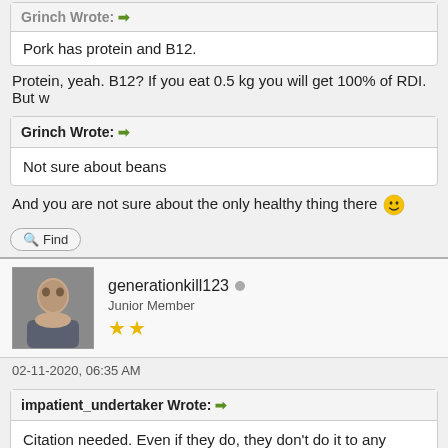Pork has protein and B12.
Protein, yeah. B12? If you eat 0.5 kg you will get 100% of RDI. But w
Grinch Wrote: →
Not sure about beans
And you are not sure about the only healthy thing there 😀
Find
generationkill123 Junior Member ★★
02-11-2020, 06:35 AM
impatient_undertaker Wrote: →
Citation needed. Even if they do, they don't do it to any meaningful